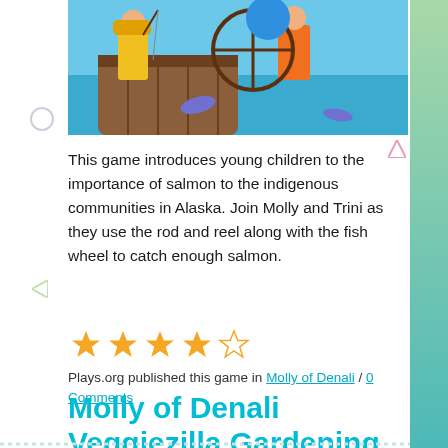[Figure (illustration): Cartoon game screenshot showing two characters fishing from a wooden barrel/boat structure with water and fish visible, colorful children's game art]
This game introduces young children to the importance of salmon to the indigenous communities in Alaska. Join Molly and Trini as they use the rod and reel along with the fish wheel to catch enough salmon.
[Figure (other): 4 out of 5 star rating shown with filled orange stars and one empty star]
Plays.org published this game in Molly of Denali / 0 Comments
Molly of Denali Veggiezilla Gardening Game for Kids